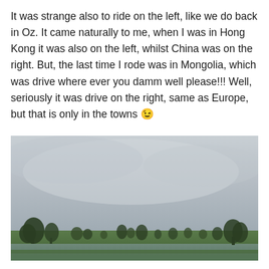It was strange also to ride on the left, like we do back in Oz. It came naturally to me, when I was in Hong Kong it was also on the left, whilst China was on the right. But, the last time I rode was in Mongolia, which was drive where ever you damm well please!!! Well, seriously it was drive on the right, same as Europe, but that is only in the towns 😉
[Figure (photo): Outdoor landscape photo showing a wide flat field with scattered trees and shrubs along the horizon under a large overcast grey sky. The ground level shows green grass and what appears to be a flooded or wet paddy field.]